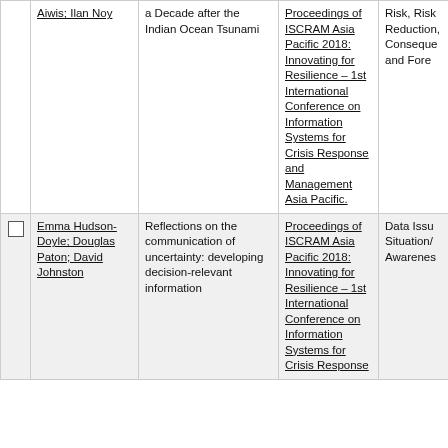|  | Authors | Title | Publication | Topics |
| --- | --- | --- | --- | --- |
|  | Aiwis; Ilan Noy | a Decade after the Indian Ocean Tsunami | Proceedings of ISCRAM Asia Pacific 2018: Innovating for Resilience – 1st International Conference on Information Systems for Crisis Response and Management Asia Pacific. | Risk, Risk Reduction, Consequence and Fore... |
| ☐ | Emma Hudson-Doyle; Douglas Paton; David Johnston | Reflections on the communication of uncertainty: developing decision-relevant information | Proceedings of ISCRAM Asia Pacific 2018: Innovating for Resilience – 1st International Conference on Information Systems for Crisis Response... | Data Issu Situation/ Awarenes... |